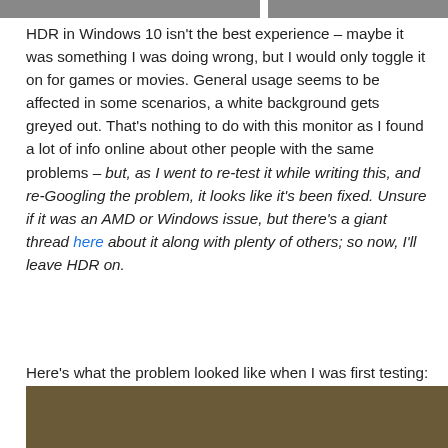[Figure (photo): Two photos partially visible at the top of the page, side by side with a small gap between them.]
HDR in Windows 10 isn't the best experience – maybe it was something I was doing wrong, but I would only toggle it on for games or movies. General usage seems to be affected in some scenarios, a white background gets greyed out. That's nothing to do with this monitor as I found a lot of info online about other people with the same problems – but, as I went to re-test it while writing this, and re-Googling the problem, it looks like it's been fixed. Unsure if it was an AMD or Windows issue, but there's a giant thread here about it along with plenty of others; so now, I'll leave HDR on.
Here's what the problem looked like when I was first testing:
[Figure (screenshot): A screenshot showing a brownish/dark yellowish background, demonstrating the HDR grey-out problem on Windows 10.]